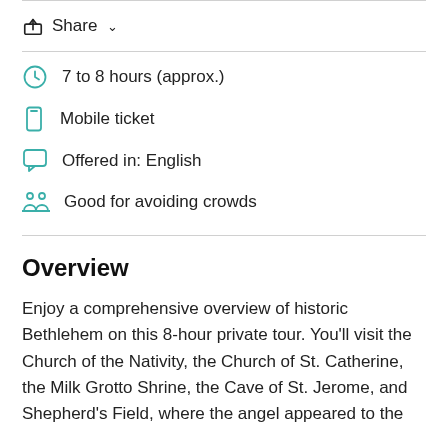Share
7 to 8 hours (approx.)
Mobile ticket
Offered in: English
Good for avoiding crowds
Overview
Enjoy a comprehensive overview of historic Bethlehem on this 8-hour private tour. You'll visit the Church of the Nativity, the Church of St. Catherine, the Milk Grotto Shrine, the Cave of St. Jerome, and Shepherd's Field, where the angel appeared to the